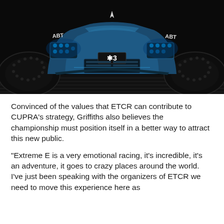[Figure (photo): Front close-up of a CUPRA racing car (ABT team) in dark blue/teal color with glowing headlights. The car has the number 3 on the front and ABT branding on both sides. Dark dramatic lighting on a cobblestone-like surface.]
Convinced of the values that ETCR can contribute to CUPRA's strategy, Griffiths also believes the championship must position itself in a better way to attract this new public.
“Extreme E is a very emotional racing, it’s incredible, it’s an adventure, it goes to crazy places around the world. I’ve just been speaking with the organizers of ETCR we need to move this experience here as